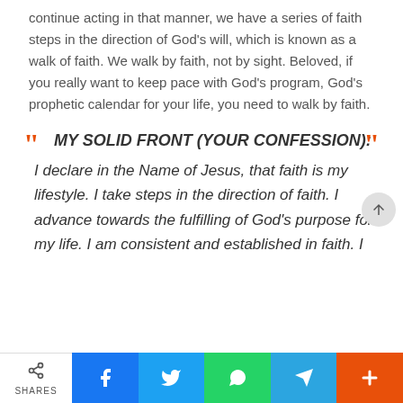continue acting in that manner, we have a series of faith steps in the direction of God's will, which is known as a walk of faith. We walk by faith, not by sight. Beloved, if you really want to keep pace with God's program, God's prophetic calendar for your life, you need to walk by faith.
MY SOLID FRONT (YOUR CONFESSION):
I declare in the Name of Jesus, that faith is my lifestyle. I take steps in the direction of faith. I advance towards the fulfilling of God's purpose for my life. I am consistent and established in faith. I
SHARES | Facebook | Twitter | WhatsApp | Telegram | More